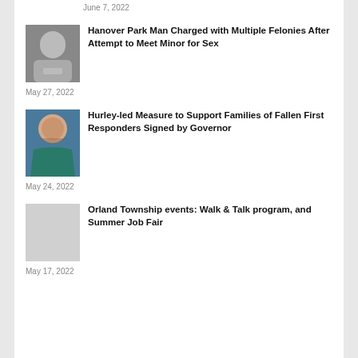June 7, 2022
[Figure (photo): Mugshot of man with chin strap mask]
Hanover Park Man Charged with Multiple Felonies After Attempt to Meet Minor for Sex
May 27, 2022
[Figure (photo): Portrait of a woman in a teal jacket smiling]
Hurley-led Measure to Support Families of Fallen First Responders Signed by Governor
May 24, 2022
Orland Township events: Walk & Talk program, and Summer Job Fair
May 17, 2022